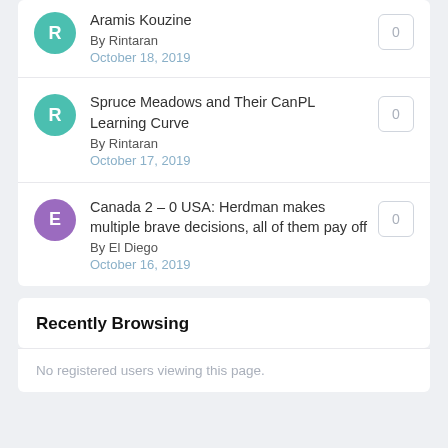Aramis Kouzine
By Rintaran
October 18, 2019
Spruce Meadows and Their CanPL Learning Curve
By Rintaran
October 17, 2019
Canada 2 – 0 USA: Herdman makes multiple brave decisions, all of them pay off
By El Diego
October 16, 2019
Recently Browsing
No registered users viewing this page.